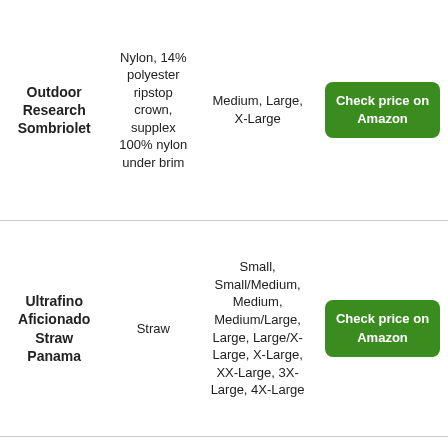| Product | Material | Sizes | Link |
| --- | --- | --- | --- |
| Outdoor Research Sombriolet | Nylon, 14% polyester ripstop crown, supplex 100% nylon under brim | Medium, Large, X-Large | Check price on Amazon |
| Ultrafino Aficionado Straw Panama | Straw | Small, Small/Medium, Medium, Medium/Large, Large, Large/X-Large, X-Large, XX-Large, 3X-Large, 4X-Large | Check price on Amazon |
| REI Waterproof Rain Sombrero | Polyester | Small/Medium, Large/X-Large, One Size | Check price on REI |
| Outdoor |  |  | Check price on |